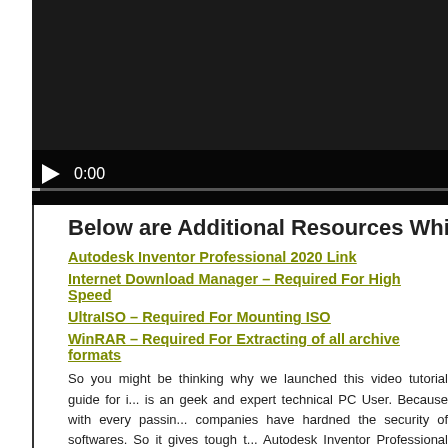[Figure (screenshot): Video player with dark background showing play button and 0:00 timestamp with progress bar]
Below are Additional Resources Which You Migh
Autodesk Inventor Professional 2020 Link
Internet Download Manager – Required For High Speed
UltraISO – Required For Mounting ISO
WinRAR – Required For Extracting of all archive formats
So you might be thinking why we launched this video tutorial guide for i... is an geek and expert technical PC User. Because with every passin... companies have hardned the security of softwares. So it gives tough t... Autodesk Inventor Professional 2020. Therefore we have setup this foru... Professional 2020. So if you are one of those user who jus' wondering how to make Autodesk Inventor Professional 2020 work succe...